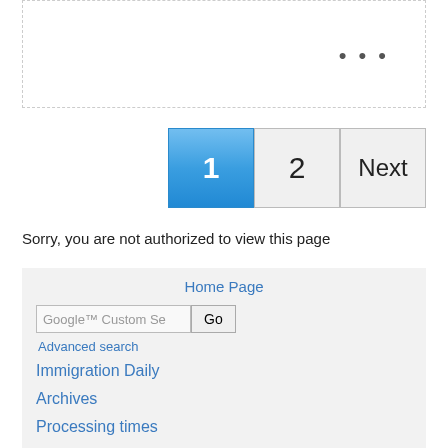[Figure (screenshot): White box with dashed border and three dots (ellipsis) in the upper right corner]
[Figure (screenshot): Pagination controls showing buttons: 1 (active/blue), 2, Next]
Sorry, you are not authorized to view this page
Home Page
Google™ Custom Se  Go
Advanced search
Immigration Daily
Archives
Processing times
Immigration forms
Discussion board
Resources
Blogs
Twitter feed